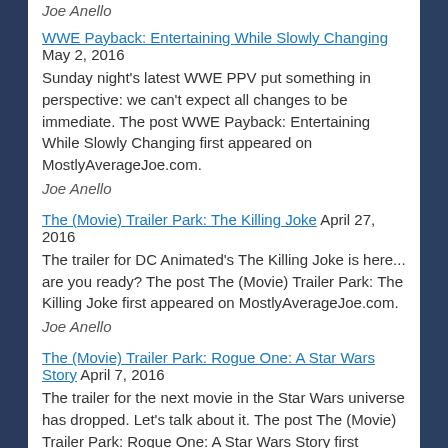Joe Anello
WWE Payback: Entertaining While Slowly Changing May 2, 2016
Sunday night's latest WWE PPV put something in perspective: we can't expect all changes to be immediate. The post WWE Payback: Entertaining While Slowly Changing first appeared on MostlyAverageJoe.com.
Joe Anello
The (Movie) Trailer Park: The Killing Joke April 27, 2016
The trailer for DC Animated's The Killing Joke is here... are you ready? The post The (Movie) Trailer Park: The Killing Joke first appeared on MostlyAverageJoe.com.
Joe Anello
The (Movie) Trailer Park: Rogue One: A Star Wars Story April 7, 2016
The trailer for the next movie in the Star Wars universe has dropped. Let's talk about it. The post The (Movie) Trailer Park: Rogue One: A Star Wars Story first appeared on MostlyAverageJoe.com.